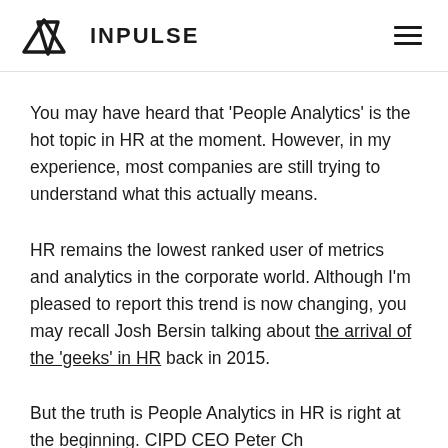INPULSE
You may have heard that ‘People Analytics’ is the hot topic in HR at the moment. However, in my experience, most companies are still trying to understand what this actually means.
HR remains the lowest ranked user of metrics and analytics in the corporate world. Although I’m pleased to report this trend is now changing, you may recall Josh Bersin talking about the arrival of the ‘geeks’ in HR back in 2015.
But the truth is People Analytics in HR is right at the beginning. CIPD CEO Peter Ch...